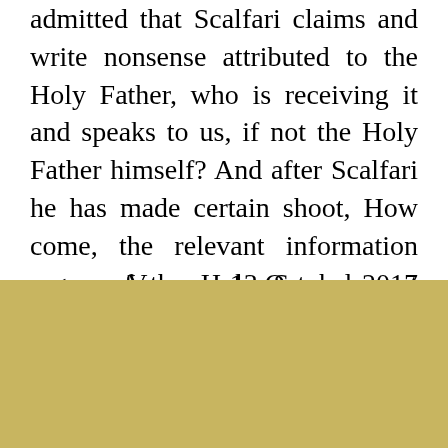admitted that Scalfari claims and write nonsense attributed to the Holy Father, who is receiving it and speaks to us, if not the Holy Father himself? And after Scalfari he has made certain shoot, How come, the relevant information organ of the Holy See, do not deny?
Varazze, 13 October 2017
This website uses cookies . By clicking on "Accept all" you agree to the use of all cookies.
Cookie Settings
Accept everything